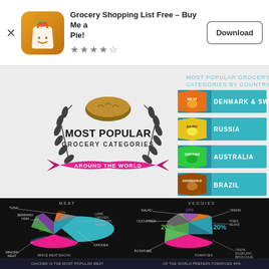[Figure (screenshot): App store header showing app icon for Grocery Shopping List Free - Buy Me a Pie!, 4.5 star rating, and Download button]
Grocery Shopping List Free – Buy Me a Pie!
[Figure (infographic): Most Popular Grocery Categories Around the World infographic with country-category pairings: MEAT - Denmark & Sweden, DAIRY - Russia, GREENS - Australia, HOUSEHOLD - Brazil]
[Figure (pie-chart): MEAT]
[Figure (pie-chart): VEGGIES]
CHICKEN IS THE MOST POPULAR MEAT
OF THE WORLD PREFERS TOMATOES 40%